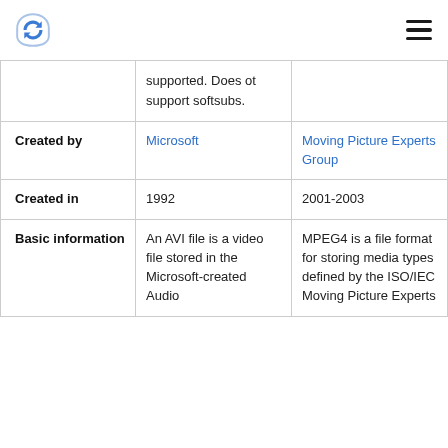Logo and navigation header
|  | AVI | MPEG4 |
| --- | --- | --- |
|  | supported. Does ot support softsubs. |  |
| Created by | Microsoft | Moving Picture Experts Group |
| Created in | 1992 | 2001-2003 |
| Basic information | An AVI file is a video file stored in the Microsoft-created Audio | MPEG4 is a file format for storing media types defined by the ISO/IEC Moving Picture Experts |